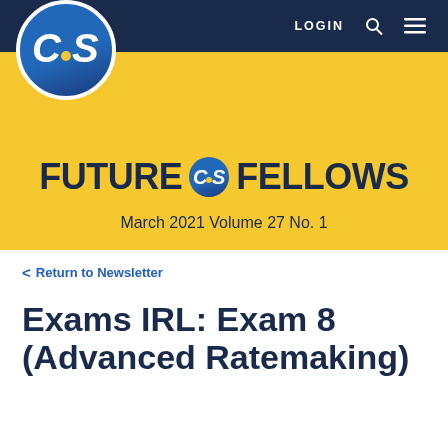LOGIN
[Figure (logo): CAS circular logo with blue background and white CAS text with yellow dot]
FUTURE CAS FELLOWS
March 2021 Volume 27 No. 1
< Return to Newsletter
Exams IRL: Exam 8 (Advanced Ratemaking)